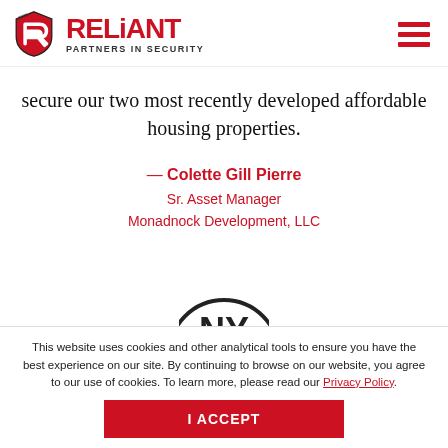[Figure (logo): Reliant Partners in Security logo with shield icon on the left and hamburger menu icon on the right]
secure our two most recently developed affordable housing properties.
— Colette Gill Pierre
Sr. Asset Manager
Monadnock Development, LLC
[Figure (logo): NY circular logo, partially visible]
This website uses cookies and other analytical tools to ensure you have the best experience on our site. By continuing to browse on our website, you agree to our use of cookies. To learn more, please read our Privacy Policy.
I ACCEPT